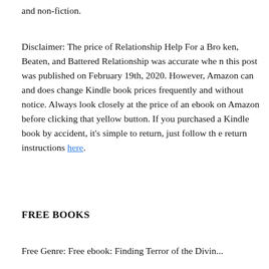and non-fiction.
Disclaimer: The price of Relationship Help For a Broken, Beaten, and Battered Relationship was accurate when this post was published on February 19th, 2020. However, Amazon can and does change Kindle book prices frequently and without notice. Always look closely at the price of an ebook on Amazon before clicking that yellow button. If you purchased a Kindle book by accident, it's simple to return, just follow the return instructions here.
FREE BOOKS
Free Genre: Free ebook: Finding Terror of the Divin...